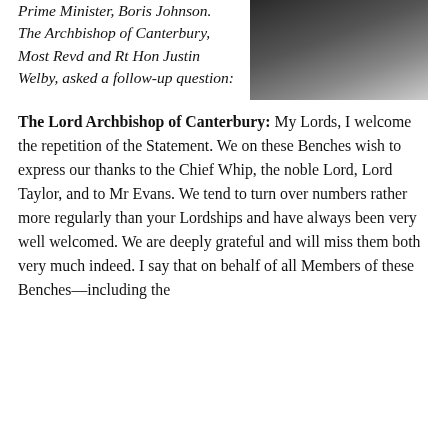Prime Minister, Boris Johnson. The Archbishop of Canterbury, Most Revd and Rt Hon Justin Welby, asked a follow-up question:
[Figure (photo): Photo of a person in dark clerical attire with a white collar and lanyard, cropped from shoulders up.]
The Lord Archbishop of Canterbury: My Lords, I welcome the repetition of the Statement. We on these Benches wish to express our thanks to the Chief Whip, the noble Lord, Lord Taylor, and to Mr Evans. We tend to turn over numbers rather more regularly than your Lordships and have always been very well welcomed. We are deeply grateful and will miss them both very much indeed. I say that on behalf of all Members of these Benches—including the